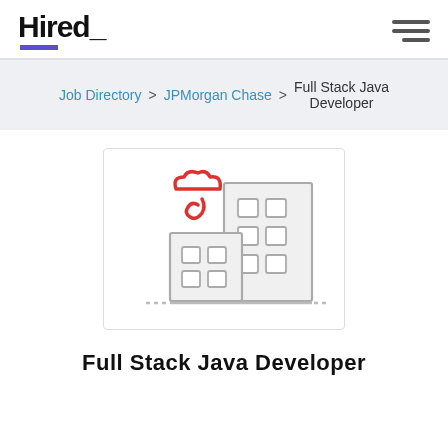Hired_
Job Directory > JPMorgan Chase > Full Stack Java Developer
[Figure (illustration): Illustration showing two office buildings with cloud/link icons in red above them, representing a tech company or JPMorgan Chase branding.]
Full Stack Java Developer